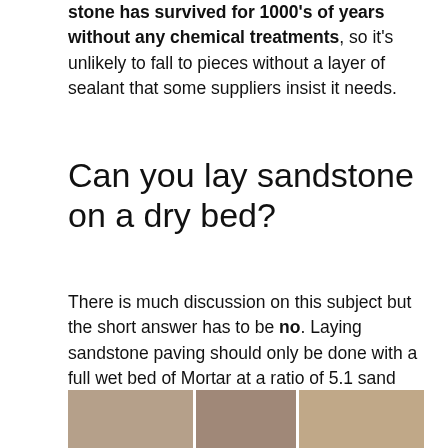stone has survived for 1000's of years without any chemical treatments, so it's unlikely to fall to pieces without a layer of sealant that some suppliers insist it needs.
Can you lay sandstone on a dry bed?
There is much discussion on this subject but the short answer has to be no. Laying sandstone paving should only be done with a full wet bed of Mortar at a ratio of 5.1 sand and cement and the slabs should be primed individually before laying using a slurry primer to aid with adhesion and to prevent salt blooms.
[Figure (photo): Partial photo strip at the bottom of the page showing what appears to be brick/stone paving materials or outdoor setting]